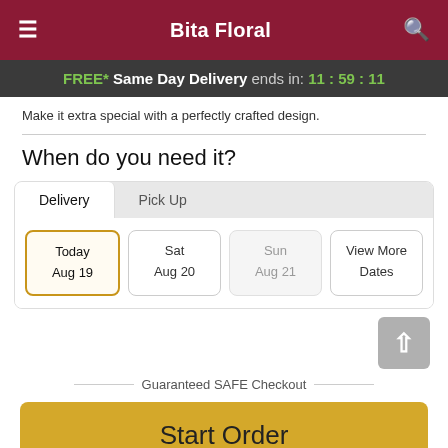Bita Floral
FREE* Same Day Delivery ends in: 11:59:11
Make it extra special with a perfectly crafted design.
When do you need it?
Delivery | Pick Up
Today Aug 19 | Sat Aug 20 | Sun Aug 21 | View More Dates
Guaranteed SAFE Checkout
Start Order